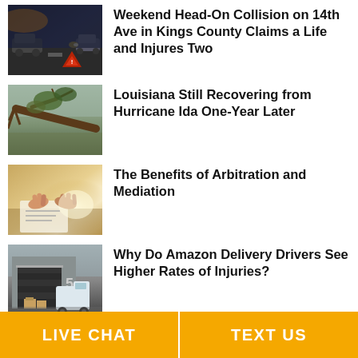[Figure (photo): Car accident scene on road with warning triangle at dusk]
Weekend Head-On Collision on 14th Ave in Kings County Claims a Life and Injures Two
[Figure (photo): Fallen tree across a road or property after hurricane]
Louisiana Still Recovering from Hurricane Ida One-Year Later
[Figure (photo): Two people shaking hands over documents at a desk with sunlight]
The Benefits of Arbitration and Mediation
[Figure (photo): Amazon delivery warehouse loading dock with van and boxes]
Why Do Amazon Delivery Drivers See Higher Rates of Injuries?
LIVE CHAT   TEXT US